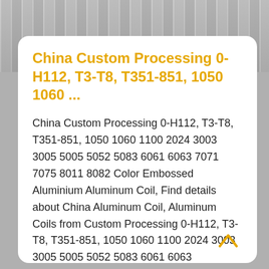[Figure (photo): Photo of aluminum coils in the background at the top of the page]
China Custom Processing 0-H112, T3-T8, T351-851, 1050 1060 ...
China Custom Processing 0-H112, T3-T8, T351-851, 1050 1060 1100 2024 3003 3005 5005 5052 5083 6061 6063 7071 7075 8011 8082 Color Embossed Aluminium Aluminum Coil, Find details about China Aluminum Coil, Aluminum Coils from Custom Processing 0-H112, T3-T8, T351-851, 1050 1060 1100 2024 3003 3005 5005 5052 5083 6061 6063